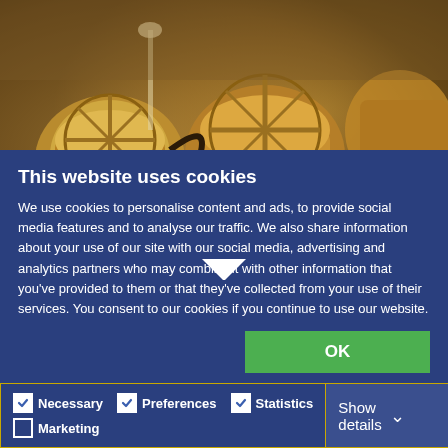[Figure (photo): Photo of Caterpillar 3406 industrial engines in a warehouse/shop setting, showing large yellow/gold colored diesel engine blocks and components]
Modelo #: 3406
Caterpillar 3406 Engine
This website uses cookies
We use cookies to personalise content and ads, to provide social media features and to analyse our traffic. We also share information about your use of our site with our social media, advertising and analytics partners who may combine it with other information that you've provided to them or that they've collected from your use of their services. You consent to our cookies if you continue to use our website.
OK
Necessary  Preferences  Statistics  Marketing  Show details